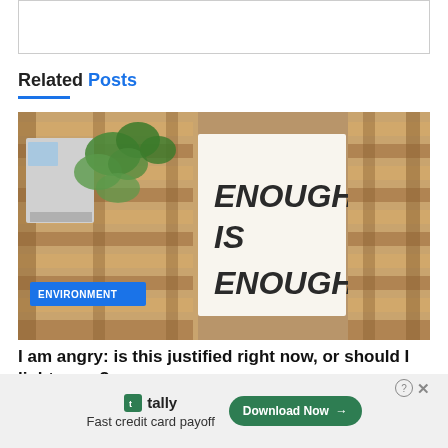[Figure (other): Empty white box with border at top of page]
Related Posts
[Figure (photo): Photo of wooden pallet wall with a white sign reading ENOUGH IS ENOUGH in bold black italic text. Left side shows green leafy plant and a caravan/trailer. Blue badge overlay reads ENVIRONMENT.]
I am angry: is this justified right now, or should I lighten up?
[Figure (other): Advertisement banner for Tally - Fast credit card payoff with Download Now button]